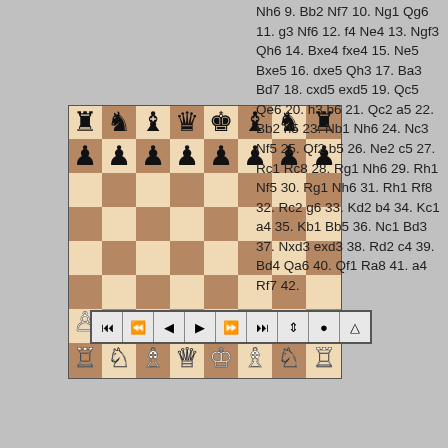[Figure (other): Chess board showing starting position with all pieces in initial setup. Black pieces on top rows, white pieces on bottom rows, with standard checkered board pattern in tan/cream colors.]
[Figure (other): Navigation bar with chess game controls: skip-to-start, fast-back, back, forward, fast-forward, skip-to-end, flip, add-move, and triangle/flag buttons.]
Nh6 9. Bb2 Nf7 10. Ng1 Qg6 11. g3 Nf6 12. f4 Ne4 13. Ngf3 Qh6 14. Bxe4 fxe4 15. Ne5 Bxe5 16. dxe5 Qh3 17. Ba3 Bd7 18. cxd5 exd5 19. Qc5 Qe6 20. h3 b6 21. Qc2 a5 22. Bb2 h5 23. Nb1 Nh6 24. Nc3 Nf5 25. Qf2 b5 26. Ne2 c5 27. Rc1 Rc8 28. Rg1 Nh6 29. Rh1 Nf5 30. Rg1 Nh6 31. Rh1 Rf8 32. Rc2 g6 33. Kd2 b4 34. Kc1 a4 35. Kb1 Bb5 36. Nc1 Bd3 37. Nxd3 exd3 38. Rd2 c4 39. Bd4 Qa6 40. Qf1 Ra8 41. a4 Rf7 42.